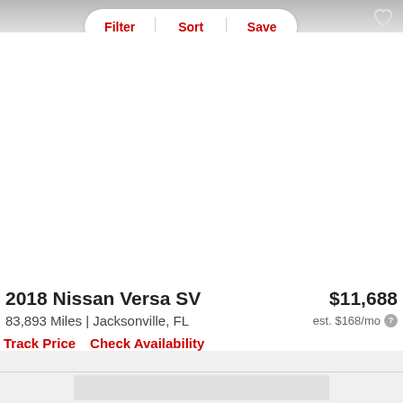Filter | Sort | Save
[Figure (screenshot): Car listing image area — blank white space representing where a vehicle photo would appear]
2018 Nissan Versa SV
$11,688
83,893 Miles | Jacksonville, FL
est. $168/mo
Track Price
Check Availability